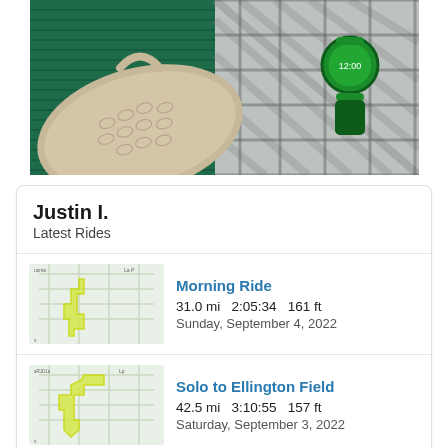[Figure (photo): Flatlay photo showing a green plaid shirt, snakeskin patterned bag/wallet, and a green watch on a dark green ribbed fabric background]
Justin I.
Latest Rides
Morning Ride
31.0 mi   2:05:34   161 ft
Sunday, September 4, 2022
Solo to Ellington Field
42.5 mi   3:10:55   157 ft
Saturday, September 3, 2022
Morning Ride
62.6 mi   4:38:56   358 ft
Friday, September 2, 2022